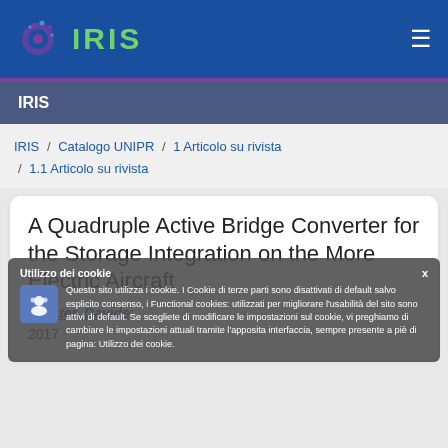IRIS
IRIS
IRIS / Catalogo UNIPR / 1 Articolo su rivista / 1.1 Articolo su rivista
A Quadruple Active Bridge Converter for the Storage Integration on the More Electric Aircraft
Barater, Davide;
2017
Utilizzo dei cookie. Questo sito utilizza i cookie. I Cookie di terze parti sono disattivati di default salvo esplicito consenso, i Functional cookies: utilizzati per migliorare l'usabilità del sito sono attivi di default. Se scegliete di modificare le impostazioni sul cookie, vi preghiamo di cambiare le impostazioni attuali tramite l'apposita interfaccia, sempre presente a piè di pagina: Utilizzo dei cookie.